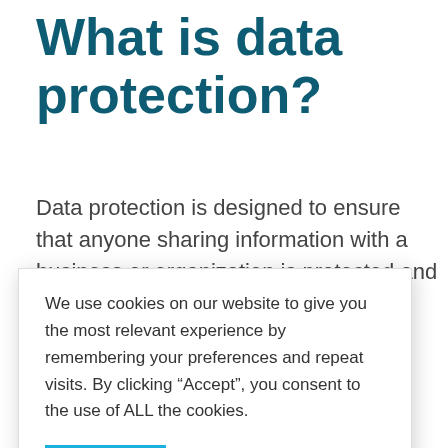What is data protection?
Data protection is designed to ensure that anyone sharing information with a business or organization is protected and that their data will be used and held
We use cookies on our website to give you the most relevant experience by remembering your preferences and repeat visits. By clicking “Accept”, you consent to the use of ALL the cookies.
ACCEPT
Privacy policy
bination of
legislation and best data management practices.